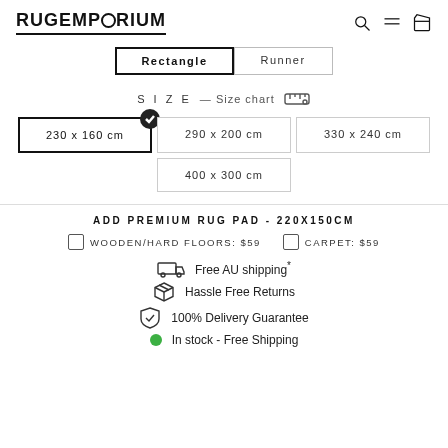RUGEMPORIUM
Rectangle  Runner
SIZE — Size chart
230 x 160 cm  290 x 200 cm  330 x 240 cm  400 x 300 cm
ADD PREMIUM RUG PAD - 220X150CM
WOODEN/HARD FLOORS: $59   CARPET: $59
Free AU shipping*
Hassle Free Returns
100% Delivery Guarantee
In stock - Free Shipping